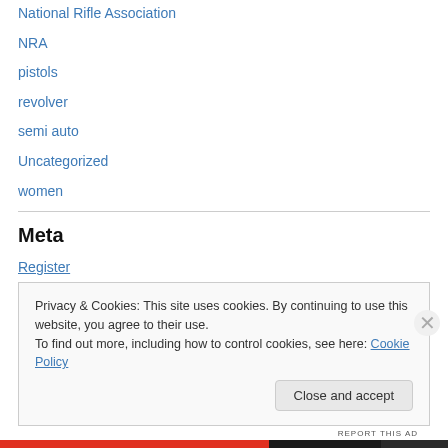National Rifle Association
NRA
pistols
revolver
semi auto
Uncategorized
women
Meta
Register
Log in
Privacy & Cookies: This site uses cookies. By continuing to use this website, you agree to their use.
To find out more, including how to control cookies, see here: Cookie Policy
Close and accept